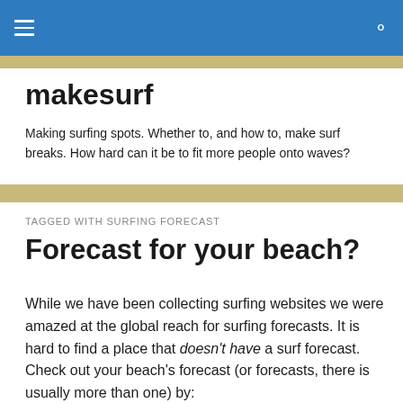makesurf — navigation header with hamburger menu and search icon
makesurf
Making surfing spots. Whether to, and how to, make surf breaks. How hard can it be to fit more people onto waves?
TAGGED WITH SURFING FORECAST
Forecast for your beach?
While we have been collecting surfing websites we were amazed at the global reach for surfing forecasts. It is hard to find a place that doesn't have a surf forecast. Check out your beach's forecast (or forecasts, there is usually more than one) by: